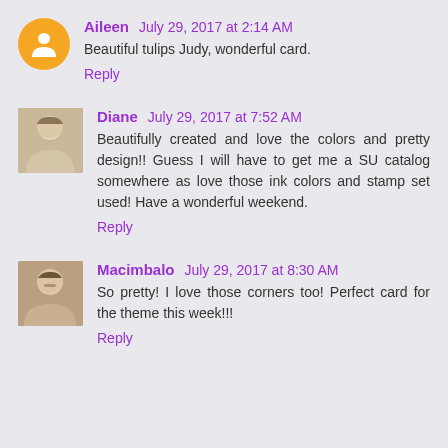Aileen July 29, 2017 at 2:14 AM
Beautiful tulips Judy, wonderful card.
Reply
Diane July 29, 2017 at 7:52 AM
Beautifully created and love the colors and pretty design!! Guess I will have to get me a SU catalog somewhere as love those ink colors and stamp set used! Have a wonderful weekend.
Reply
Macimbalo July 29, 2017 at 8:30 AM
So pretty! I love those corners too! Perfect card for the theme this week!!!
Reply